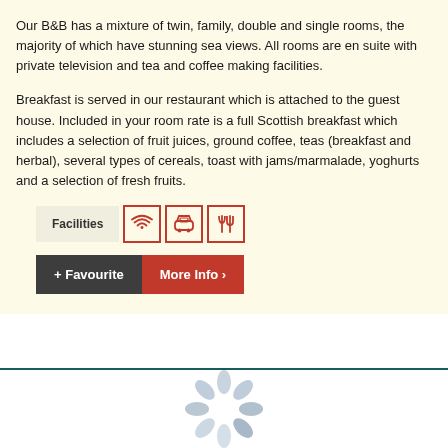Our B&B has a mixture of twin, family, double and single rooms, the majority of which have stunning sea views. All rooms are en suite with private television and tea and coffee making facilities.
Breakfast is served in our restaurant which is attached to the guest house. Included in your room rate is a full Scottish breakfast which includes a selection of fruit juices, ground coffee, teas (breakfast and herbal), several types of cereals, toast with jams/marmalade, yoghurts and a selection of fresh fruits.
[Figure (infographic): Facilities label with icons: wifi, car/parking, and restaurant/dining icons in red bordered boxes]
[Figure (infographic): Button row: dark grey '+ Favourite' button and red 'More Info >' button]
[Figure (illustration): Loading spinner illustration with grey oval shapes arranged in a circle on white background]